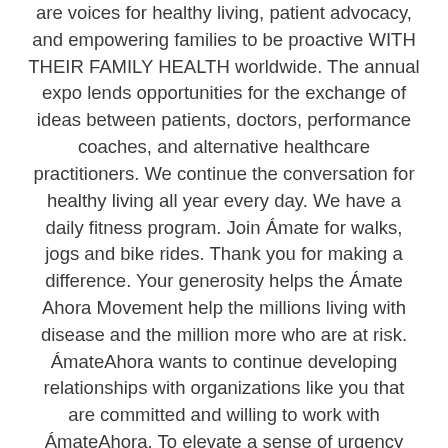are voices for healthy living, patient advocacy, and empowering families to be proactive WITH THEIR FAMILY HEALTH worldwide. The annual expo lends opportunities for the exchange of ideas between patients, doctors, performance coaches, and alternative healthcare practitioners. We continue the conversation for healthy living all year every day. We have a daily fitness program. Join Ámate for walks, jogs and bike rides. Thank you for making a difference. Your generosity helps the Ámate Ahora Movement help the millions living with disease and the million more who are at risk. ÁmateAhora wants to continue developing relationships with organizations like you that are committed and willing to work with ÁmateAhora. To elevate a sense of urgency around chronic disease, patient care, patient empowerment, caregiver support, and inspire overall healthy living; educating families about the prevention and management of chronic disease and cause people to take action for their health. We thank you for